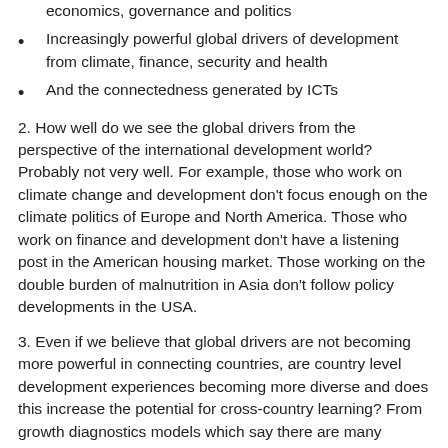economics, governance and politics
Increasingly powerful global drivers of development from climate, finance, security and health
And the connectedness generated by ICTs
2. How well do we see the global drivers from the perspective of the international development world? Probably not very well. For example, those who work on climate change and development don’t focus enough on the climate politics of Europe and North America. Those who work on finance and development don’t have a listening post in the American housing market. Those working on the double burden of malnutrition in Asia don’t follow policy developments in the USA.
3. Even if we believe that global drivers are not becoming more powerful in connecting countries, are country level development experiences becoming more diverse and does this increase the potential for cross-country learning? From growth diagnostics models which say there are many ingredients and recipes to a new plethora of home grown